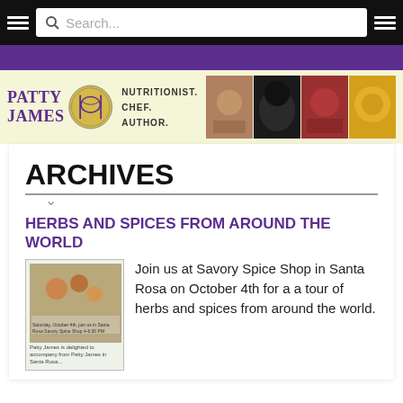Search...
[Figure (screenshot): Website header with Patty James logo, nutritionist chef author tagline, and food/dog photo collage]
ARCHIVES
HERBS AND SPICES FROM AROUND THE WORLD
[Figure (photo): Book or promotional image for herbs and spices event at Savory Spice Shop]
Join us at Savory Spice Shop in Santa Rosa on October 4th for a a tour of herbs and spices from around the world. Give your child a...